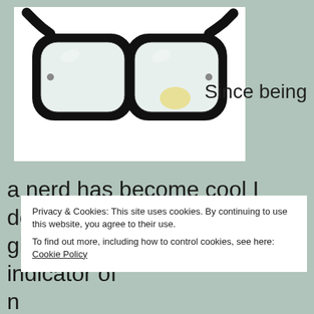[Figure (photo): Black thick-rimmed nerd glasses (Wayfarer style) on a white background]
Since being
a nerd has become cool I don't like it any more. Big glasses are no longer the indicator of nerdiness. It's more likely the result of an overpriced
Privacy & Cookies: This site uses cookies. By continuing to use this website, you agree to their use.
To find out more, including how to control cookies, see here: Cookie Policy
Close and accept